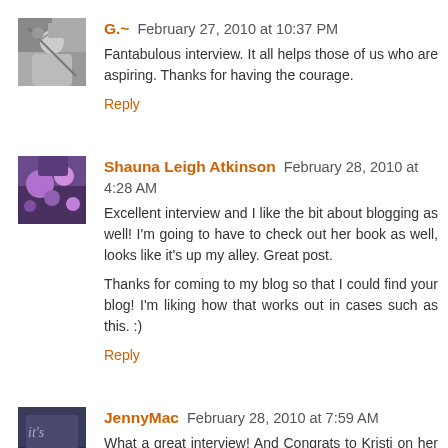G.~ February 27, 2010 at 10:37 PM
Fantabulous interview. It all helps those of us who are aspiring. Thanks for having the courage.
Reply
Shauna Leigh Atkinson February 28, 2010 at 4:28 AM
Excellent interview and I like the bit about blogging as well! I'm going to have to check out her book as well, looks like it's up my alley. Great post.

Thanks for coming to my blog so that I could find your blog! I'm liking how that works out in cases such as this. :)
Reply
JennyMac February 28, 2010 at 7:59 AM
What a great interview! And Congrats to Kristi on her book.